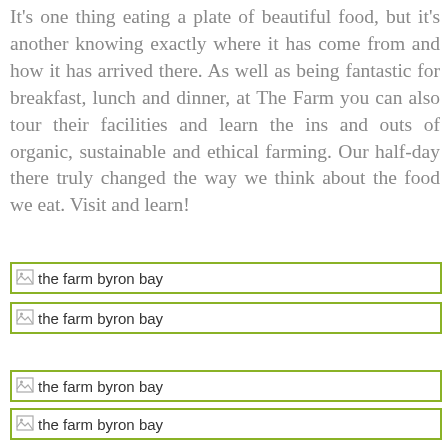It's one thing eating a plate of beautiful food, but it's another knowing exactly where it has come from and how it has arrived there. As well as being fantastic for breakfast, lunch and dinner, at The Farm you can also tour their facilities and learn the ins and outs of organic, sustainable and ethical farming. Our half-day there truly changed the way we think about the food we eat. Visit and learn!
[Figure (photo): Broken image placeholder with alt text 'the farm byron bay', outlined with olive-green border]
[Figure (photo): Broken image placeholder with alt text 'the farm byron bay', outlined with olive-green border]
[Figure (photo): Broken image placeholder with alt text 'the farm byron bay', outlined with olive-green border]
[Figure (photo): Broken image placeholder with alt text 'the farm byron bay', outlined with olive-green border]